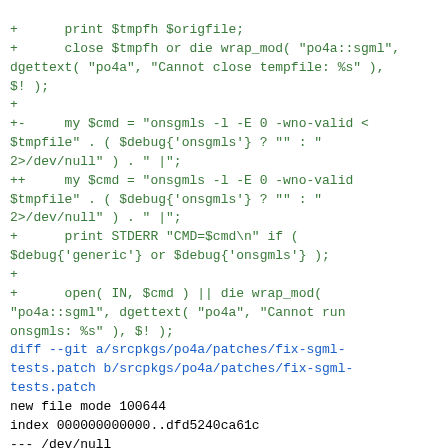+      print $tmpfh $origfile;
+      close $tmpfh or die wrap_mod( "po4a::sgml", dgettext( "po4a", "Cannot close tempfile: %s" ), $! );
+
+-     my $cmd = "onsgmls -l -E 0 -wno-valid < $tmpfile" . ( $debug{'onsgmls'} ? "" : "2>/dev/null" ) . " |";
++     my $cmd = "onsgmls -l -E 0 -wno-valid $tmpfile" . ( $debug{'onsgmls'} ? "" : "2>/dev/null" ) . " |";
+      print STDERR "CMD=$cmd\n" if ( $debug{'generic'} or $debug{'onsgmls'} );
+
+      open( IN, $cmd ) || die wrap_mod( "po4a::sgml", dgettext( "po4a", "Cannot run onsgmls: %s" ), $! );
diff --git a/srcpkgs/po4a/patches/fix-sgml-tests.patch b/srcpkgs/po4a/patches/fix-sgml-tests.patch
new file mode 100644
index 000000000000..dfd5240ca61c
--- /dev/null
+++ b/srcpkgs/po4a/patches/fix-sgml-tests.patch
@@ -0,0 +1,566 @@
+source:
https://github.com/mquinson/po4a/commit/6763f890fcb5
+
+make the test sgml files valid according to the
+docbook sgml declaration